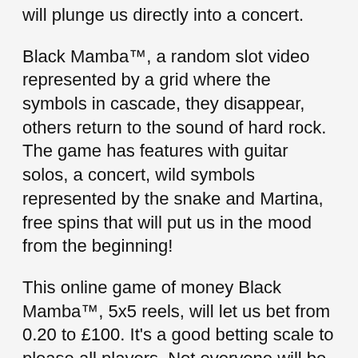will plunge us directly into a concert.
Black Mamba™, a random slot video represented by a grid where the symbols in cascade, they disappear, others return to the sound of hard rock. The game has features with guitar solos, a concert, wild symbols represented by the snake and Martina, free spins that will put us in the mood from the beginning!
This online game of money Black Mamba™, 5x5 reels, will let us bet from 0.20 to £100. It's a good betting scale to please all players. Not everyone will be able to make big bets. But it's good to think about it too because not all games can allow such large bets, it's well thought out for Play'n Go.
There are no details about the RTP of the random slot video Black Mamba™ what's